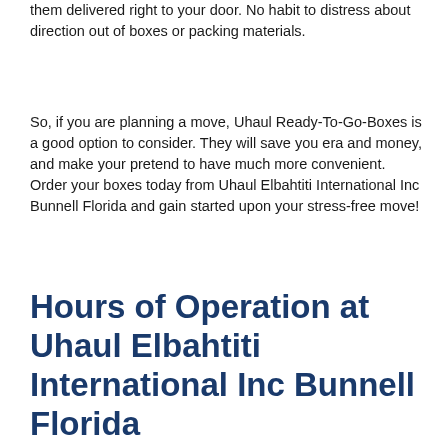them delivered right to your door. No habit to distress about direction out of boxes or packing materials.
So, if you are planning a move, Uhaul Ready-To-Go-Boxes is a good option to consider. They will save you era and money, and make your pretend to have much more convenient. Order your boxes today from Uhaul Elbahtiti International Inc Bunnell Florida and gain started upon your stress-free move!
Hours of Operation at Uhaul Elbahtiti International Inc Bunnell Florida